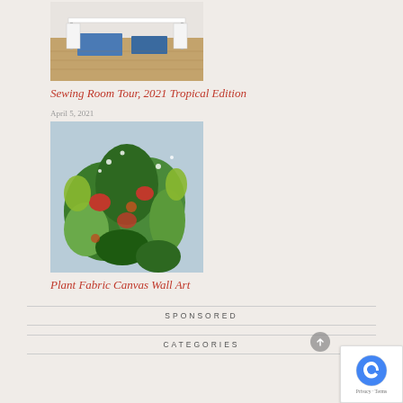[Figure (photo): Sewing room with a white table and storage underneath, herringbone wood floor]
Sewing Room Tour, 2021 Tropical Edition
April 5, 2021
[Figure (photo): Colorful tropical plant fabric with green, red plants on light blue background]
Plant Fabric Canvas Wall Art
SPONSORED
CATEGORIES